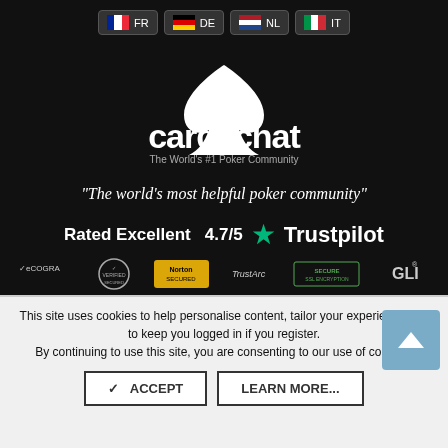[Figure (screenshot): Language selection buttons: FR (France flag), DE (Germany flag), NL (Netherlands flag), IT (Italy flag)]
[Figure (logo): CardsChat logo - The World's #1 Poker Community, white spade icon with CardChat text]
“The world's most helpful poker community”
Rated Excellent  4.7/5  ★ Trustpilot
[Figure (infographic): Trust badges row: eCOGRA, Verified Secured, Norton Secured, TrustArc, Secure SSL Encryption, GLI]
This site uses cookies to help personalise content, tailor your experience and to keep you logged in if you register.
By continuing to use this site, you are consenting to our use of cookies.
ACCEPT   LEARN MORE...